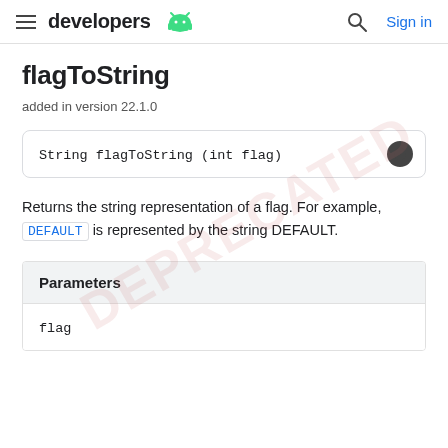developers | Sign in
flagToString
added in version 22.1.0
Returns the string representation of a flag. For example, DEFAULT is represented by the string DEFAULT.
| Parameters |
| --- |
| flag |